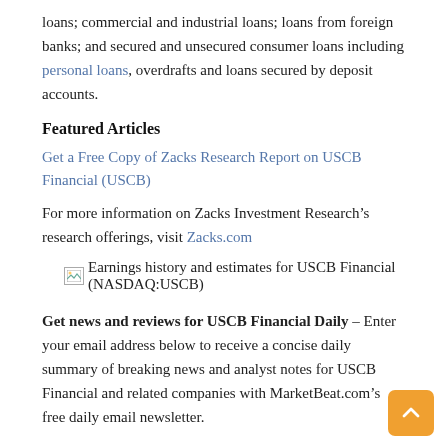loans; commercial and industrial loans; loans from foreign banks; and secured and unsecured consumer loans including personal loans, overdrafts and loans secured by deposit accounts.
Featured Articles
Get a Free Copy of Zacks Research Report on USCB Financial (USCB)
For more information on Zacks Investment Research’s research offerings, visit Zacks.com
[Figure (other): Broken image icon followed by alt text: Earnings history and estimates for USCB Financial (NASDAQ:USCB)]
Get news and reviews for USCB Financial Daily – Enter your email address below to receive a concise daily summary of breaking news and analyst notes for USCB Financial and related companies with MarketBeat.com’s free daily email newsletter.